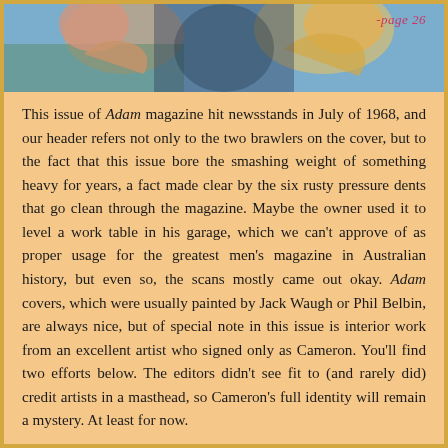[Figure (illustration): Top portion of a painted magazine cover showing figures, colorful artwork in blues, yellows, and skin tones. Page label '-page 26' visible in pink/red text at top right.]
This issue of Adam magazine hit newsstands in July of 1968, and our header refers not only to the two brawlers on the cover, but to the fact that this issue bore the smashing weight of something heavy for years, a fact made clear by the six rusty pressure dents that go clean through the magazine. Maybe the owner used it to level a work table in his garage, which we can't approve of as proper usage for the greatest men's magazine in Australian history, but even so, the scans mostly came out okay. Adam covers, which were usually painted by Jack Waugh or Phil Belbin, are always nice, but of special note in this issue is interior work from an excellent artist who signed only as Cameron. You'll find two efforts below. The editors didn't see fit to (and rarely did) credit artists in a masthead, so Cameron's full identity will remain a mystery. At least for now.